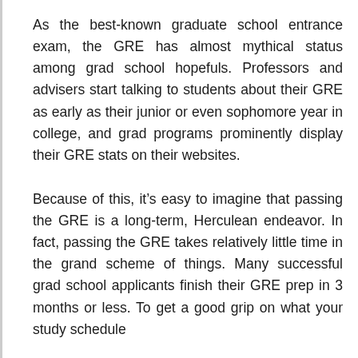As the best-known graduate school entrance exam, the GRE has almost mythical status among grad school hopefuls. Professors and advisers start talking to students about their GRE as early as their junior or even sophomore year in college, and grad programs prominently display their GRE stats on their websites.
Because of this, it’s easy to imagine that passing the GRE is a long-term, Herculean endeavor. In fact, passing the GRE takes relatively little time in the grand scheme of things. Many successful grad school applicants finish their GRE prep in 3 months or less. To get a good grip on what your study schedule